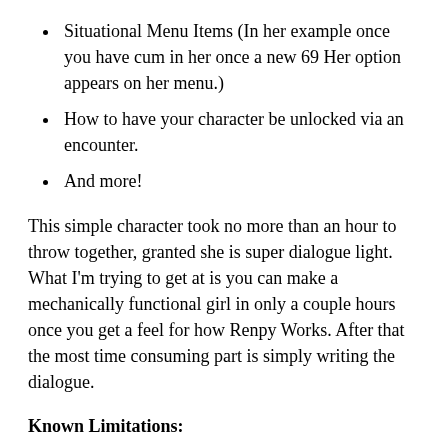Situational Menu Items (In her example once you have cum in her once a new 69 Her option appears on her menu.)
How to have your character be unlocked via an encounter.
And more!
This simple character took no more than an hour to throw together, granted she is super dialogue light. What I'm trying to get at is you can make a mechanically functional girl in only a couple hours once you get a feel for how Renpy Works. After that the most time consuming part is simply writing the dialogue.
Known Limitations:
The CCC is limited to one girl per save file. When you start development you will want to have a save